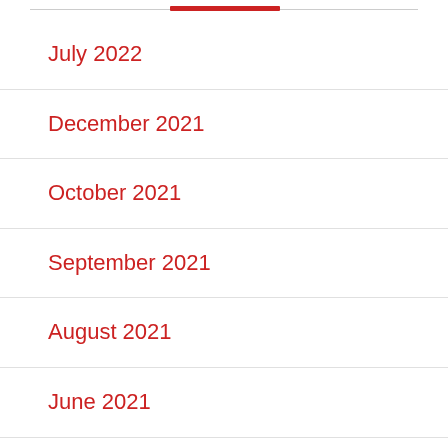July 2022
December 2021
October 2021
September 2021
August 2021
June 2021